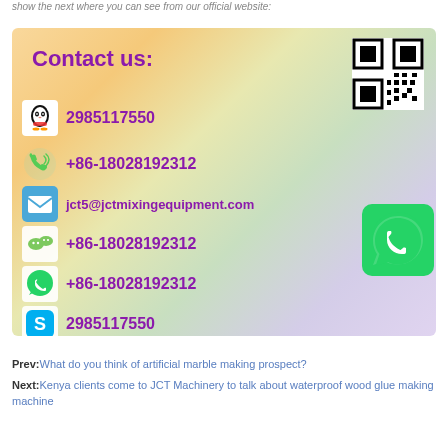show the next where you can see from our official website:
[Figure (infographic): Contact us card with gradient background showing QQ number 2985117550, phone +86-18028192312, email jct5@jctmixingequipment.com, WeChat +86-18028192312, WhatsApp +86-18028192312, Skype 2985117550, with icons and QR code]
Prev: What do you think of artificial marble making prospect?
Next: Kenya clients come to JCT Machinery to talk about waterproof wood glue making machine